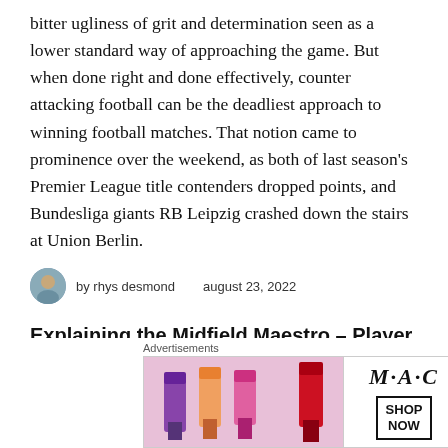bitter ugliness of grit and determination seen as a lower standard way of approaching the game. But when done right and done effectively, counter attacking football can be the deadliest approach to winning football matches. That notion came to prominence over the weekend, as both of last season's Premier League title contenders dropped points, and Bundesliga giants RB Leipzig crashed down the stairs at Union Berlin.
by rhys desmond   august 23, 2022
Explaining the Midfield Maestro – Player Role Analysis
As the ball-dominant magic-wand sorcerers in central midfield, tt Midfield Maestro...
[Figure (photo): MAC cosmetics advertisement showing lipsticks with SHOP NOW button]
Advertisements